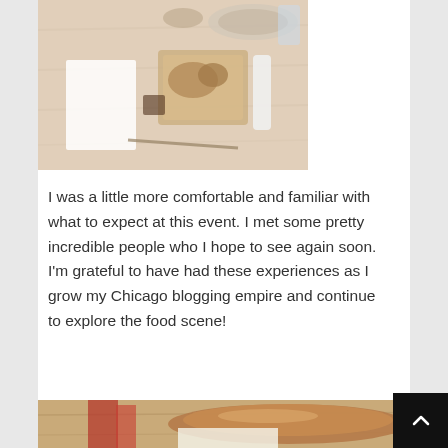[Figure (photo): Overhead view of a restaurant table with food dishes, drinks, napkins, and dining items on a wooden surface]
I was a little more comfortable and familiar with what to expect at this event. I met some pretty incredible people who I hope to see again soon. I'm grateful to have had these experiences as I grow my Chicago blogging empire and continue to explore the food scene!
[Figure (photo): Close-up photo of food item on a wooden surface, partially visible at bottom of page]